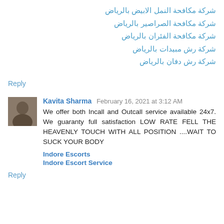شركة مكافحة النمل الابيض بالرياض
شركة مكافحة الصراصير بالرياض
شركة مكافحة الفئران بالرياض
شركة رش مبيدات بالرياض
شركة رش دفان بالرياض
Reply
Kavita Sharma  February 16, 2021 at 3:12 AM
We offer both Incall and Outcall service available 24x7. We guaranty full satisfaction LOW RATE FELL THE HEAVENLY TOUCH WITH ALL POSITION ....WAIT TO SUCK YOUR BODY
Indore Escorts
Indore Escort Service
Reply